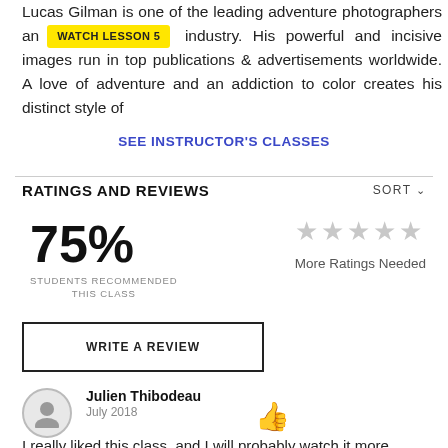Lucas Gilman is one of the leading adventure photographers an [WATCH LESSON 5] industry. His powerful and incisive images run in top publications & advertisements worldwide. A love of adventure and an addiction to color creates his distinct style of
SEE INSTRUCTOR'S CLASSES
RATINGS AND REVIEWS
75%
STUDENTS RECOMMENDED THIS CLASS
More Ratings Needed
WRITE A REVIEW
Julien Thibodeau
July 2018
I really liked this class, and I will probably watch it more